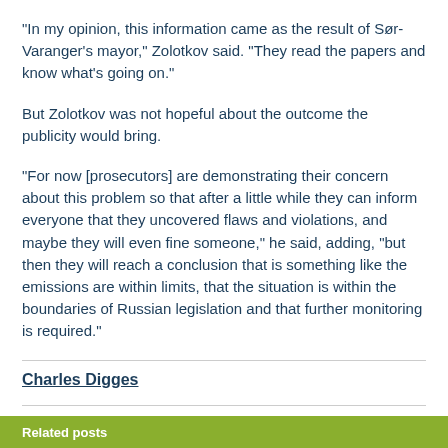"In my opinion, this information came as the result of Sør-Varanger's mayor," Zolotkov said. "They read the papers and know what's going on."
But Zolotkov was not hopeful about the outcome the publicity would bring.
"For now [prosecutors] are demonstrating their concern about this problem so that after a little while they can inform everyone that they uncovered flaws and violations, and maybe they will even fine someone," he said, adding, "but then they will reach a conclusion that is something like the emissions are within limits, that the situation is within the boundaries of Russian legislation and that further monitoring is required."
Charles Digges
Related posts